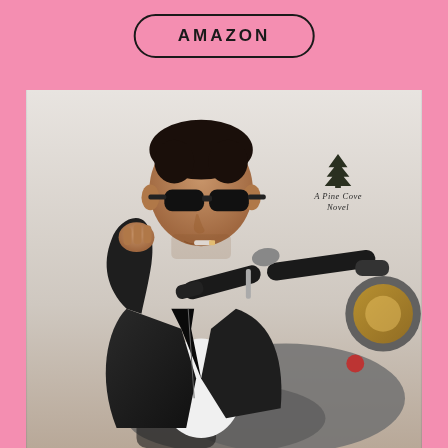AMAZON
[Figure (photo): Man in sunglasses and leather jacket sitting on a motorcycle, adjusting his collar, with a light grey/sky background. In the upper right of the photo is a pine tree logo with text 'A Pine Cove Novel'.]